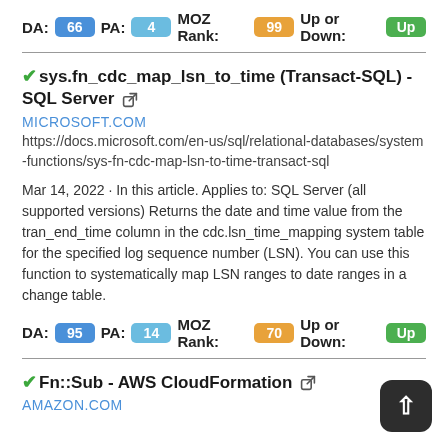DA: 66 PA: 4 MOZ Rank: 99 Up or Down: Up
sys.fn_cdc_map_lsn_to_time (Transact-SQL) - SQL Server
MICROSOFT.COM
https://docs.microsoft.com/en-us/sql/relational-databases/system-functions/sys-fn-cdc-map-lsn-to-time-transact-sql
Mar 14, 2022 · In this article. Applies to: SQL Server (all supported versions) Returns the date and time value from the tran_end_time column in the cdc.lsn_time_mapping system table for the specified log sequence number (LSN). You can use this function to systematically map LSN ranges to date ranges in a change table.
DA: 95 PA: 14 MOZ Rank: 70 Up or Down: Up
Fn::Sub - AWS CloudFormation
AMAZON.COM